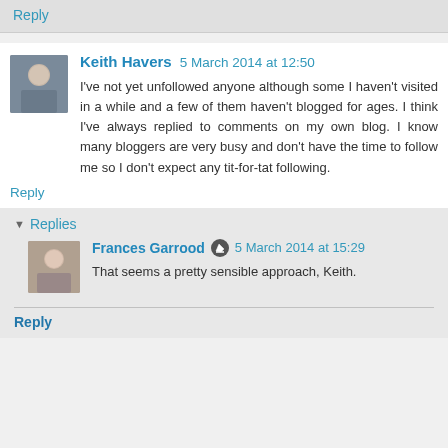Reply
Keith Havers  5 March 2014 at 12:50
I've not yet unfollowed anyone although some I haven't visited in a while and a few of them haven't blogged for ages. I think I've always replied to comments on my own blog. I know many bloggers are very busy and don't have the time to follow me so I don't expect any tit-for-tat following.
Reply
Replies
Frances Garrood  5 March 2014 at 15:29
That seems a pretty sensible approach, Keith.
Reply